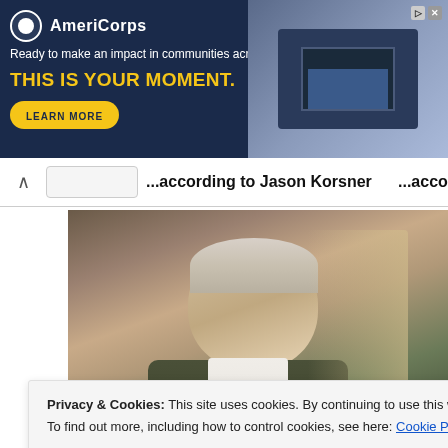[Figure (other): AmeriCorps advertisement banner with dark blue background, logo, tagline 'Ready to make an impact in communities across the country?', headline 'THIS IS YOUR MOMENT.' in yellow, LEARN MORE button, and image of people at computers on the right.]
...according to Jason Korsner
...acco
[Figure (photo): An elderly man with white/grey hair in side profile, wearing a dark green cardigan over a white shirt, looking toward a window with warm curtain light.]
Privacy & Cookies: This site uses cookies. By continuing to use this website, you agree to their use.
To find out more, including how to control cookies, see here: Cookie Policy
Close and accept